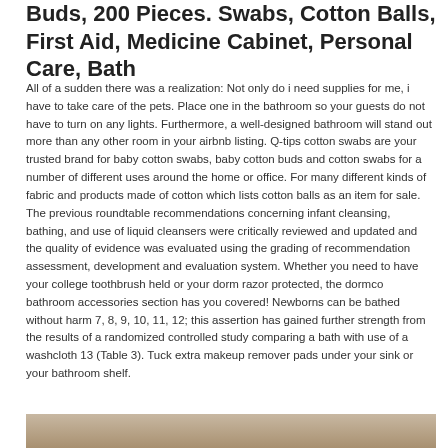Buds, 200 Pieces. Swabs, Cotton Balls, First Aid, Medicine Cabinet, Personal Care, Bath
All of a sudden there was a realization: Not only do i need supplies for me, i have to take care of the pets. Place one in the bathroom so your guests do not have to turn on any lights. Furthermore, a well-designed bathroom will stand out more than any other room in your airbnb listing. Q-tips cotton swabs are your trusted brand for baby cotton swabs, baby cotton buds and cotton swabs for a number of different uses around the home or office. For many different kinds of fabric and products made of cotton which lists cotton balls as an item for sale. The previous roundtable recommendations concerning infant cleansing, bathing, and use of liquid cleansers were critically reviewed and updated and the quality of evidence was evaluated using the grading of recommendation assessment, development and evaluation system. Whether you need to have your college toothbrush held or your dorm razor protected, the dormco bathroom accessories section has you covered! Newborns can be bathed without harm 7, 8, 9, 10, 11, 12; this assertion has gained further strength from the results of a randomized controlled study comparing a bath with use of a washcloth 13 (Table 3). Tuck extra makeup remover pads under your sink or your bathroom shelf.
[Figure (photo): Partial view of a photo at the bottom of the page, showing a warm-toned image (likely bathroom or personal care products).]